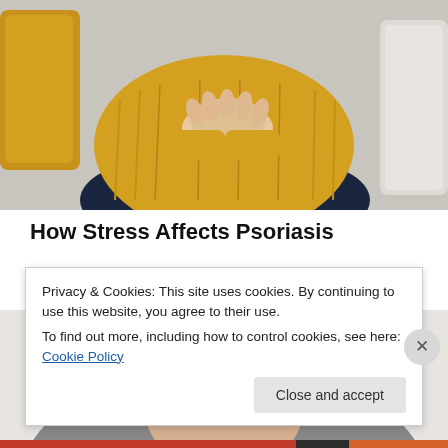[Figure (photo): Person in yellow/mustard sweater sitting on a couch with pillows, hands clasped together, representing stress related to psoriasis]
How Stress Affects Psoriasis
HealthCentral.com
[Figure (photo): Elderly person wearing a dark navy cowboy hat, partially visible (forehead and hat area)]
Privacy & Cookies: This site uses cookies. By continuing to use this website, you agree to their use.
To find out more, including how to control cookies, see here: Cookie Policy
Close and accept